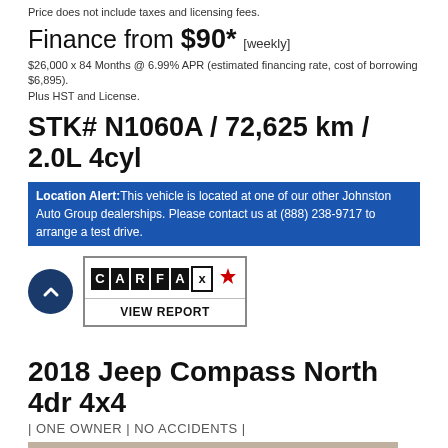Price does not include taxes and licensing fees.
Finance from $90* [weekly]
$26,000 x 84 Months @ 6.99% APR (estimated financing rate, cost of borrowing $6,895). Plus HST and License.
STK# N1060A / 72,625 km / 2.0L 4cyl
Location Alert: This vehicle is located at one of our other Johnston Auto Group dealerships. Please contact us at (888) 238-9717 to arrange a test drive.
[Figure (logo): CARFAX Canada logo with VIEW REPORT button]
2018 Jeep Compass North 4dr 4x4
| ONE OWNER | NO ACCIDENTS |
[Figure (photo): Photo of a grey 2018 Jeep Compass North 4dr 4x4 parked in front of a stone wall]